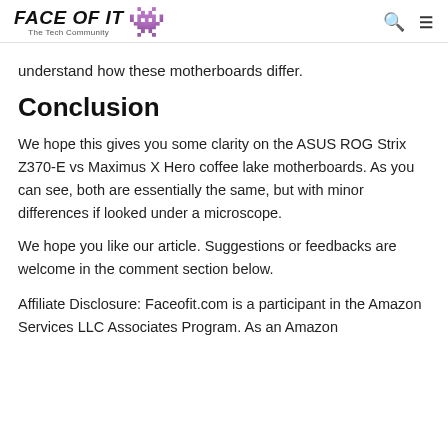FACE OF IT — The Tech Community
understand how these motherboards differ.
Conclusion
We hope this gives you some clarity on the ASUS ROG Strix Z370-E vs Maximus X Hero coffee lake motherboards. As you can see, both are essentially the same, but with minor differences if looked under a microscope.
We hope you like our article. Suggestions or feedbacks are welcome in the comment section below.
Affiliate Disclosure: Faceofit.com is a participant in the Amazon Services LLC Associates Program. As an Amazon